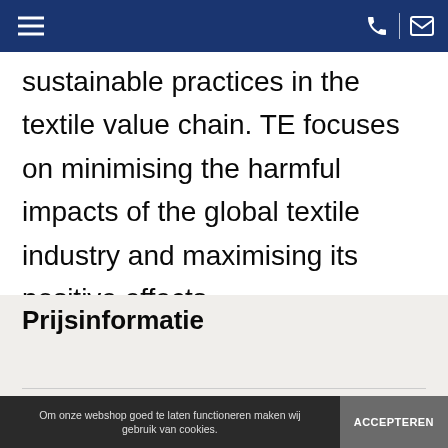Navigation bar with hamburger menu, phone icon, divider, and mail icon
sustainable practices in the textile value chain. TE focuses on minimising the harmful impacts of the global textile industry and maximising its positive effects.
Prijsinformatie
Specificaties
Om onze webshop goed te laten functioneren maken wij gebruik van cookies. ACCEPTEREN